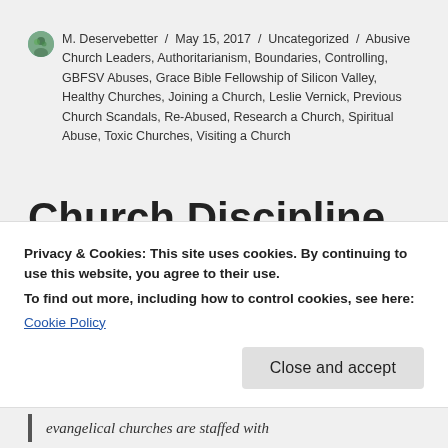M. Deservebetter / May 15, 2017 / Uncategorized / Abusive Church Leaders, Authoritarianism, Boundaries, Controlling, GBFSV Abuses, Grace Bible Fellowship of Silicon Valley, Healthy Churches, Joining a Church, Leslie Vernick, Previous Church Scandals, Re-Abused, Research a Church, Spiritual Abuse, Toxic Churches, Visiting a Church
Church Discipline (Abuses). by Todd
Privacy & Cookies: This site uses cookies. By continuing to use this website, you agree to their use.
To find out more, including how to control cookies, see here:
Cookie Policy
Close and accept
evangelical churches are staffed with